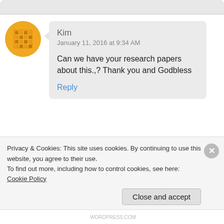[Figure (other): Top portion of a comment section, gray rounded box remnant at top]
[Figure (illustration): Avatar for Kim: circular golden/orange geometric pattern icon]
Kim
January 11, 2016 at 9:34 AM

Can we have your research papers about this.,? Thank you and Godbless

Reply
[Figure (illustration): Avatar for KAMAL: circular blue snowflake/dot pattern icon]
KAMAL
January 25, 2016 at 5:34 PM

Hy
Privacy & Cookies: This site uses cookies. By continuing to use this website, you agree to their use.
To find out more, including how to control cookies, see here: Cookie Policy

Close and accept